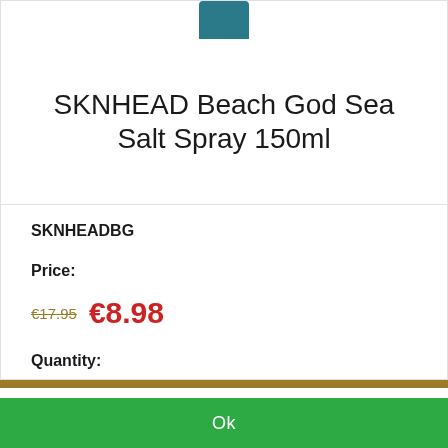[Figure (photo): Partial view of teal/dark blue product bottle top, cropped at the top edge]
SKNHEAD Beach God Sea Salt Spray 150ml
SKNHEADBG
Price:
€17.95  €8.98
Quantity:
We have placed cookies on your device to help make this website better.
Ok